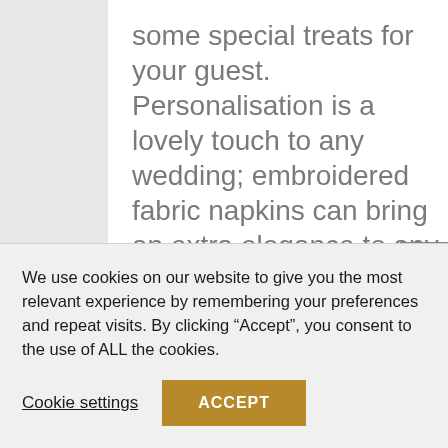some special treats for your guest. Personalisation is a lovely touch to any wedding; embroidered fabric napkins can bring an extra elegance to any table when the budget allows, couples may also look at bringing in different furniture into the venue when they have this size of budget to ensure it
We use cookies on our website to give you the most relevant experience by remembering your preferences and repeat visits. By clicking “Accept”, you consent to the use of ALL the cookies.
Cookie settings
ACCEPT